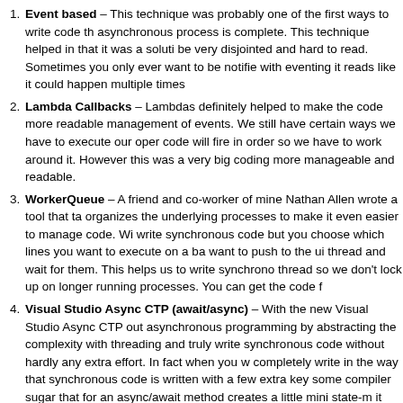Event based – This technique was probably one of the first ways to write code that asynchronous process is complete. This technique helped in that it was a solution but it could be very disjointed and hard to read. Sometimes you only ever want to be notified once but with eventing it reads like it could happen multiple times
Lambda Callbacks – Lambdas definitely helped to make the code more readable and the management of events. We still have certain ways we have to execute our operations so code will fire in order so we have to work around it. However this was a very big step in coding more manageable and readable.
WorkerQueue – A friend and co-worker of mine Nathan Allen wrote a tool that takes and organizes the underlying processes to make it even easier to manage code. With it you write synchronous code but you choose which lines you want to execute on a background and want to push to the ui thread and wait for them. This helps us to write synchronous code thread so we don't lock up on longer running processes. You can get the code f
Visual Studio Async CTP (await/async) – With the new Visual Studio Async CTP you out asynchronous programming by abstracting the complexity with threading and you can truly write synchronous code without hardly any extra effort. In fact when you write it is completely write in the way that synchronous code is written with a few extra keywords. some compiler sugar that for an async/await method creates a little mini state-machine, it hits an await then executes that on a Task, when the Task is completed it updates the step of the state machine. This is definitely my favorite technique next to using the awaiting the release of this extension.
I have posted the code samples here. You will probably need to install the Visual Studio and more information here. I don't believe that this changes any core .net, just the co
I will be speaking on this topic at various events and will post each event I am speaking